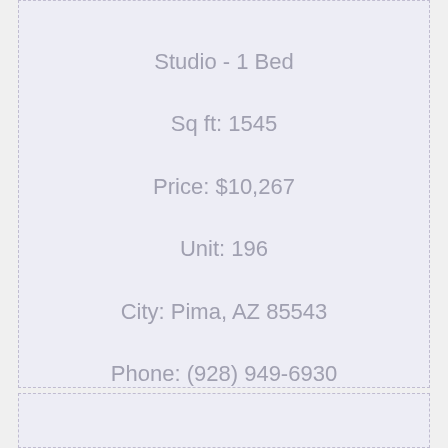Studio - 1 Bed
Sq ft: 1545
Price: $10,267
Unit: 196
City: Pima, AZ 85543
Phone: (928) 949-6930
[Figure (photo): Small thumbnail photo of an apartment/room interior]